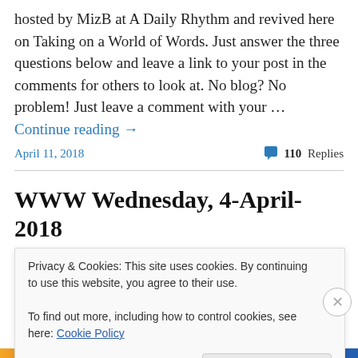hosted by MizB at A Daily Rhythm and revived here on Taking on a World of Words. Just answer the three questions below and leave a link to your post in the comments for others to look at. No blog? No problem! Just leave a comment with your … Continue reading →
April 11, 2018
💬 110 Replies
WWW Wednesday, 4-April-2018
Welcome to WWW Wednesday! This meme was formerly
Privacy & Cookies: This site uses cookies. By continuing to use this website, you agree to their use.
To find out more, including how to control cookies, see here: Cookie Policy
Close and accept